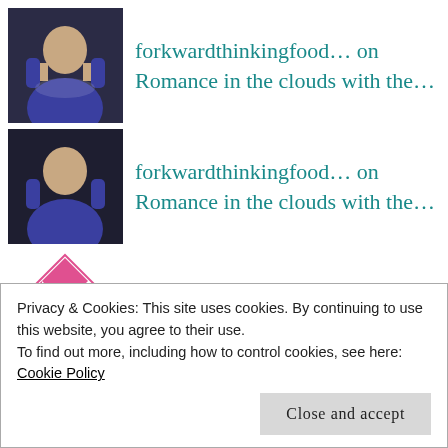forkwardthinkingfood… on Romance in the clouds with the…
forkwardthinkingfood… on Romance in the clouds with the…
Britt on Romance in the clouds with the…
forkwardthinkingfood… on Romance in the clouds with the…
forkwardthinkingfood… on Romance in the clouds with the…
Privacy & Cookies: This site uses cookies. By continuing to use this website, you agree to their use. To find out more, including how to control cookies, see here: Cookie Policy
Close and accept